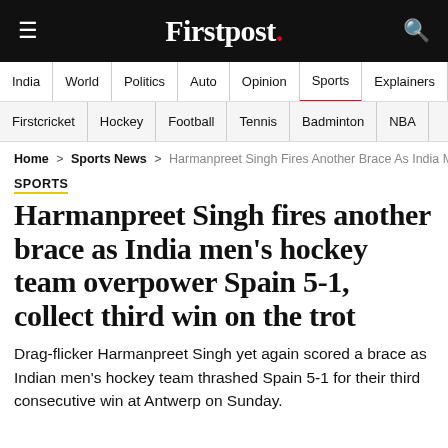Firstpost.
India | World | Politics | Auto | Opinion | Sports | Explainers
Firstcricket | Hockey | Football | Tennis | Badminton | NBA
Home > Sports News > Harmanpreet Singh Fires Another Brace As India Men
SPORTS
Harmanpreet Singh fires another brace as India men's hockey team overpower Spain 5-1, collect third win on the trot
Drag-flicker Harmanpreet Singh yet again scored a brace as Indian men's hockey team thrashed Spain 5-1 for their third consecutive win at Antwerp on Sunday.